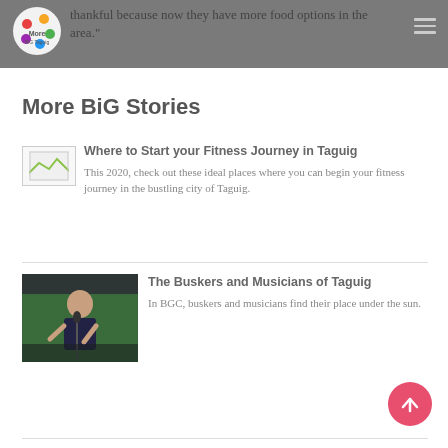thankful because now they have more food options in the area."
More BiG Stories
[Figure (illustration): Small broken image placeholder icon]
Where to Start your Fitness Journey in Taguig
This 2020, check out these ideal places where you can begin your fitness journey in the bustling city of Taguig.
[Figure (photo): Photo of a young woman singing/playing music on a stage with a green background]
The Buskers and Musicians of Taguig
In BGC, buskers and musicians find their place under the sun.